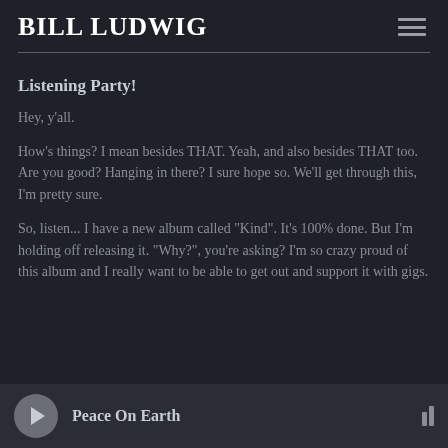BILL LUDWIG
Listening Party!
Hey, y'all.
How's things? I mean besides THAT. Yeah, and also besides THAT too. Are you good? Hanging in there? I sure hope so. We'll get through this, I'm pretty sure.
So, listen... I have a new album called "Kind". It's 100% done. But I'm holding off releasing it. "Why?", you're asking? I'm so crazy proud of this album and I really want to be able to get out and support it with gigs.
Peace On Earth